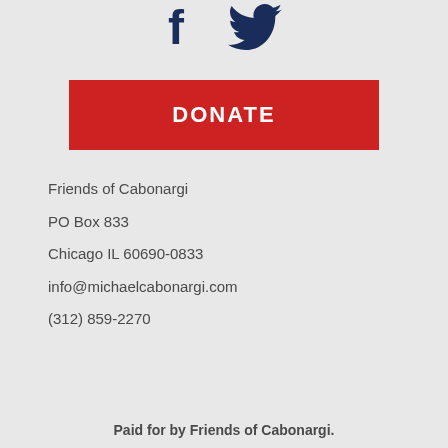[Figure (illustration): Facebook and Twitter social media icons side by side, dark navy blue color]
[Figure (other): Red DONATE button]
Friends of Cabonargi
PO Box 833
Chicago IL 60690-0833
info@michaelcabonargi.com
(312) 859-2270
Paid for by Friends of Cabonargi.